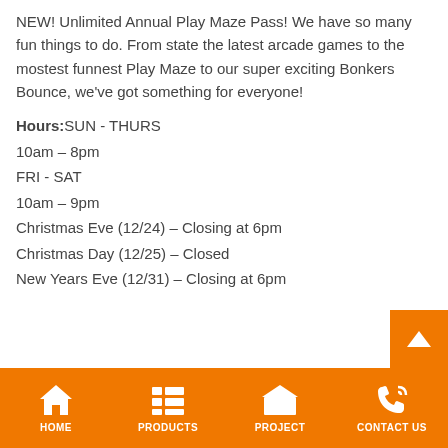NEW! Unlimited Annual Play Maze Pass! We have so many fun things to do. From state the latest arcade games to the mostest funnest Play Maze to our super exciting Bonkers Bounce, we've got something for everyone!
Hours: SUN - THURS
10am – 8pm
FRI - SAT
10am – 9pm
Christmas Eve (12/24) – Closing at 6pm
Christmas Day (12/25) – Closed
New Years Eve (12/31) – Closing at 6pm
HOME  PRODUCTS  PROJECT  CONTACT US